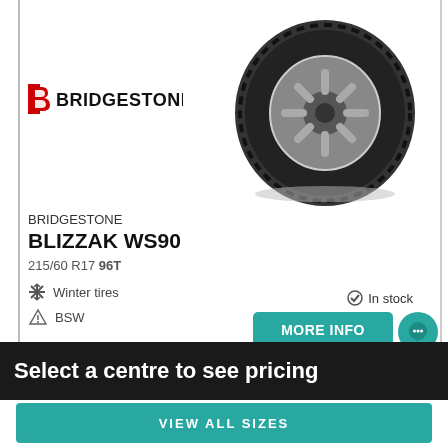[Figure (logo): Bridgestone logo with red stylized 'B' and bold text BRIDGESTONE]
[Figure (photo): Bridgestone Blizzak WS90 winter tire on silver alloy wheel, viewed from slight angle]
BRIDGESTONE
BLIZZAK WS90
215/60 R17 96T
❄ Winter tires
⚠ BSW
In stock
MORE INFO
Select a centre to see pricing
VIEW ALL SIZES